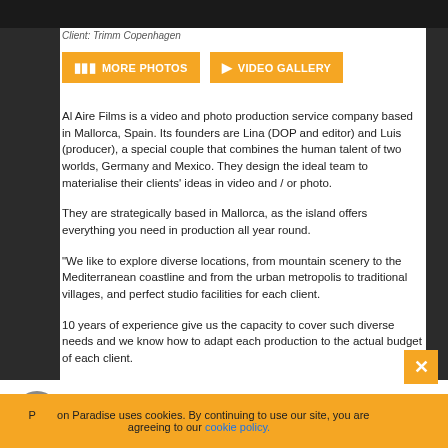[Figure (photo): Dark image area at top of page (client photo)]
Client: Trimm Copenhagen
[Figure (other): Two orange buttons: MORE PHOTOS and VIDEO GALLERY]
Al Aire Films is a video and photo production service company based in Mallorca, Spain. Its founders are Lina (DOP and editor) and Luis (producer), a special couple that combines the human talent of two worlds, Germany and Mexico. They design the ideal team to materialise their clients' ideas in video and / or photo.
They are strategically based in Mallorca, as the island offers everything you need in production all year round.
"We like to explore diverse locations, from mountain scenery to the Mediterranean coastline and from the urban metropolis to traditional villages, and perfect studio facilities for each client.
10 years of experience give us the capacity to cover such diverse needs and we know how to adapt each production to the actual budget of each client.
Production Paradise uses cookies. By continuing to use our site, you are agreeing to our cookie policy.